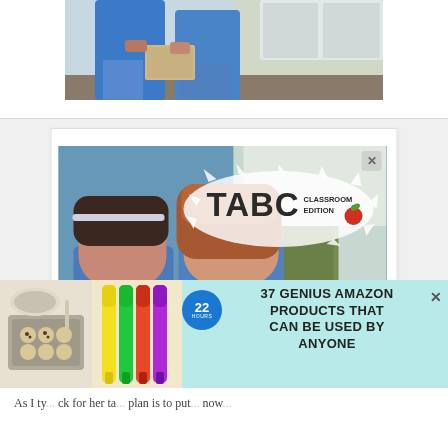[Figure (photo): Two children in blue t-shirts standing in a kitchen/indoor setting, viewed from mid-body down, one holding what appears to be a book or folder]
[Figure (photo): TABC Classroom Edition advertisement featuring two girls looking at books. Text reads: 'Where Best-selling Authors Teach Writing. Over 60 writing courses taught by professional authors! Get Started!' with a CLOSE button.]
[Figure (photo): Bottom banner advertisement: '37 GENIUS AMAZON PRODUCTS THAT CAN BE USED BY ANYONE' with images of cookies/baked goods and highlighter markers, and a circular '22' badge]
As I ty... ck for her ta... plan is to put... now...